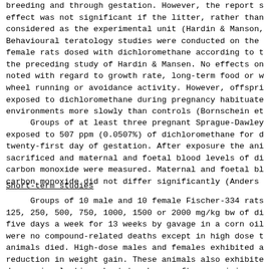breeding and through gestation. However, the report s effect was not significant if the litter, rather than considered as the experimental unit (Hardin & Manson, Behavioural teratology studies were conducted on the female rats dosed with dichloromethane according to t the preceding study of Hardin & Mansen. No effects on noted with regard to growth rate, long-term food or w wheel running or avoidance activity. However, offspri exposed to dichloromethane during pregnancy habituate environments more slowly than controls (Bornschein et
Groups of at least three pregnant Sprague-Dawley exposed to 507 ppm (0.0507%) of dichloromethane for d twenty-first day of gestation. After exposure the ani sacrificed and maternal and foetal blood levels of di carbon monoxide were measured. Maternal and foetal bl carbon monoxide did not differ significantly (Anders
Short-term studies
Groups of 10 male and 10 female Fischer-334 rats 125, 250, 500, 750, 1000, 1500 or 2000 mg/kg bw of di five days a week for 13 weeks by gavage in a corn oil were no compound-related deaths except in high dose t animals died. High-dose males and females exhibited a reduction in weight gain. These animals also exhibite depression lasting about two hours after receiving ea or microscopic lesion related to the administration o was reported. A complete set of tissues was evaluated